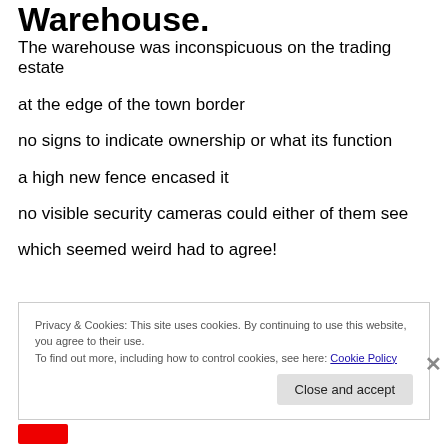Warehouse.
The warehouse was inconspicuous on the trading estate
at the edge of the town border
no signs to indicate ownership or what its function
a high new fence encased it
no visible security cameras could either of them see
which seemed weird had to agree!
Privacy & Cookies: This site uses cookies. By continuing to use this website, you agree to their use.
To find out more, including how to control cookies, see here: Cookie Policy
Close and accept